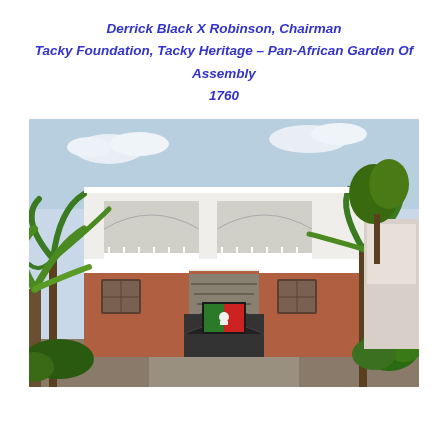Derrick Black X Robinson, Chairman
Tacky Foundation, Tacky Heritage – Pan-African Garden Of Assembly
1760
[Figure (photo): A two-storey white and terracotta building with arched balconies, staircases, and a sign/logo at the entrance, surrounded by tropical palm trees and greenery.]